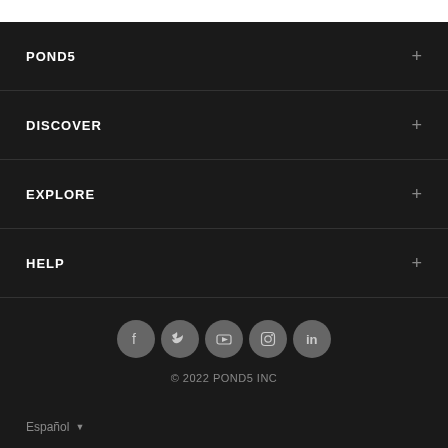POND5 +
DISCOVER +
EXPLORE +
HELP +
[Figure (illustration): Row of 5 social media icons: Facebook, Twitter, YouTube, Instagram, LinkedIn — all gray circles on dark background]
© 2022 POND5 INC
Español ▼